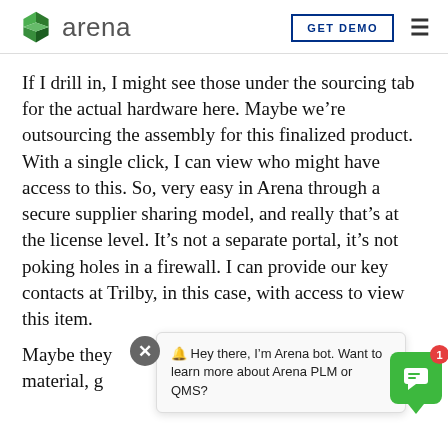arena  GET DEMO
If I drill in, I might see those under the sourcing tab for the actual hardware here. Maybe we're outsourcing the assembly for this finalized product. With a single click, I can view who might have access to this. So, very easy in Arena through a secure supplier sharing model, and really that's at the license level. It's not a separate portal, it's not poking holes in a firewall. I can provide our key contacts at Trilby, in this case, with access to view this item.
Maybe they [partial, obscured by chat] of material, g [partial] ng
[Figure (screenshot): Chat bot popup overlay with close button (X) and message: '🔔 Hey there, I'm Arena bot. Want to learn more about Arena PLM or QMS?' and a green chat icon with badge '1' in the bottom right corner]